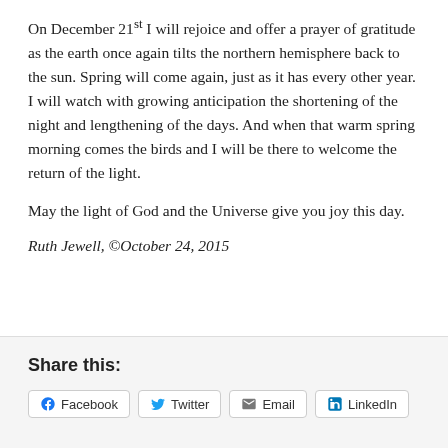On December 21st I will rejoice and offer a prayer of gratitude as the earth once again tilts the northern hemisphere back to the sun. Spring will come again, just as it has every other year. I will watch with growing anticipation the shortening of the night and lengthening of the days. And when that warm spring morning comes the birds and I will be there to welcome the return of the light.
May the light of God and the Universe give you joy this day.
Ruth Jewell, ©October 24, 2015
Share this:
Facebook | Twitter | Email | LinkedIn